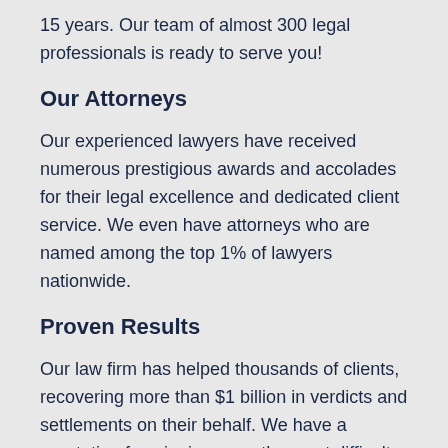15 years. Our team of almost 300 legal professionals is ready to serve you!
Our Attorneys
Our experienced lawyers have received numerous prestigious awards and accolades for their legal excellence and dedicated client service. We even have attorneys who are named among the top 1% of lawyers nationwide.
Proven Results
Our law firm has helped thousands of clients, recovering more than $1 billion in verdicts and settlements on their behalf. We have a reputation for winning even the most difficult and complex cases!